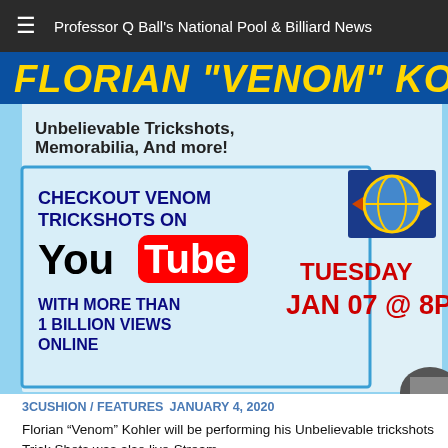Professor Q Ball's National Pool & Billiard News
[Figure (illustration): Promotional banner for Florian 'Venom' Kohler featuring YouTube trickshots promotion. Text reads: FLORIAN 'VENOM' KOHLER, Unbelievable Trickshots, Memorabilia, And more!, CHECKOUT VENOM TRICKSHOTS ON YouTube, WITH MORE THAN 1 BILLION VIEWS ONLINE, TUESDAY JAN 07 @ 8P, and a logo.]
3CUSHION / FEATURES  JANUARY 4, 2020
Florian “Venom” Kohler will be performing his Unbelievable trickshots
Trick Shots was also live-Stream.